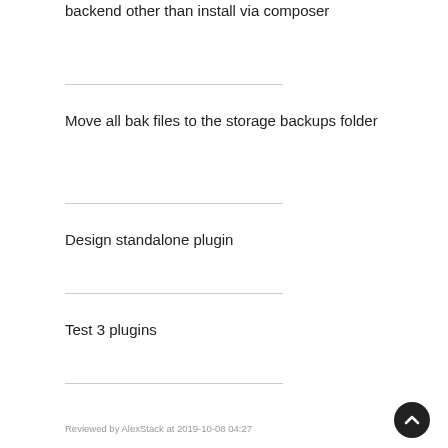backend other than install via composer
Move all bak files to the storage backups folder
Design standalone plugin
Test 3 plugins
Reviewed by AlexStack at 2019-10-08 04:27